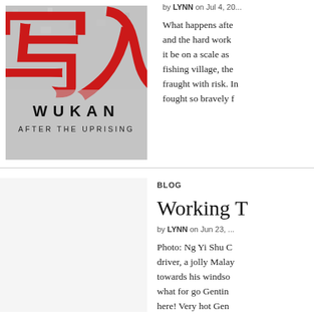[Figure (photo): Book cover for 'Wukan After the Uprising' showing large red Chinese characters on a textured grey/white background with bold black text 'W U K A N' and subtitle 'AFTER THE UPRISING']
by LYNN on Jul 4, 20...
What happens after the hard work... it be on a scale as... fishing village, the... fraught with risk. In... fought so bravely f...
BLOG
Working T...
by LYNN on Jun 23, ...
Photo: Ng Yi Shu O... driver, a jolly Malay... towards his windso... what for go Gentin... here! Very hot Gen... 322. I have the beg...